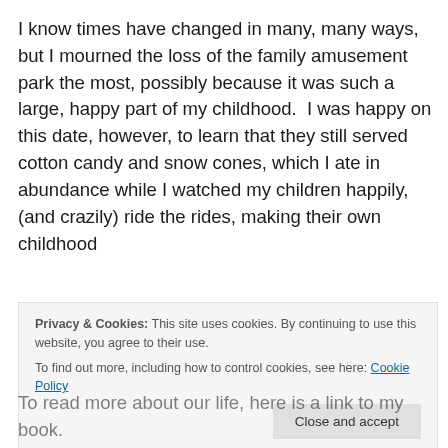I know times have changed in many, many ways, but I mourned the loss of the family amusement park the most, possibly because it was such a large, happy part of my childhood.  I was happy on this date, however, to learn that they still served cotton candy and snow cones, which I ate in abundance while I watched my children happily, (and crazily) ride the rides, making their own childhood
Privacy & Cookies: This site uses cookies. By continuing to use this website, you agree to their use.
To find out more, including how to control cookies, see here: Cookie Policy
[Close and accept]
To read more about our life, here is a link to my book.